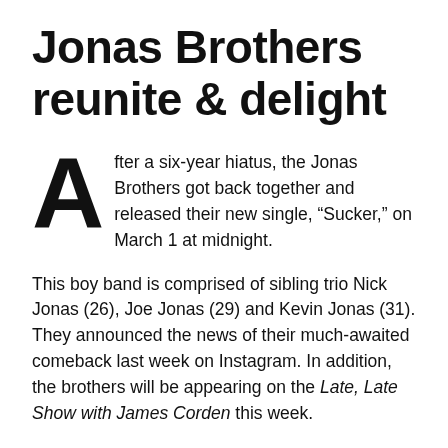Jonas Brothers reunite & delight
After a six-year hiatus, the Jonas Brothers got back together and released their new single, “Sucker,” on March 1 at midnight.
This boy band is comprised of sibling trio Nick Jonas (26), Joe Jonas (29) and Kevin Jonas (31). They announced the news of their much-awaited comeback last week on Instagram. In addition, the brothers will be appearing on the Late, Late Show with James Corden this week.
The group acquired their fame back in the early 2000s through a series of Disney Channel appearances in